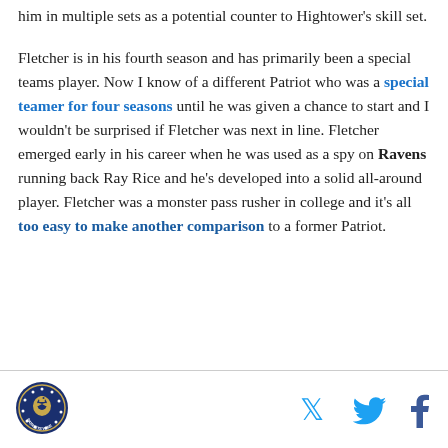him in multiple sets as a potential counter to Hightower's skill set.
Fletcher is in his fourth season and has primarily been a special teams player. Now I know of a different Patriot who was a special teamer for four seasons until he was given a chance to start and I wouldn't be surprised if Fletcher was next in line. Fletcher emerged early in his career when he was used as a spy on Ravens running back Ray Rice and he's developed into a solid all-around player. Fletcher was a monster pass rusher in college and it's all too easy to make another comparison to a former Patriot.
[Figure (logo): Circular team logo with blue background and patriot/eagle emblem]